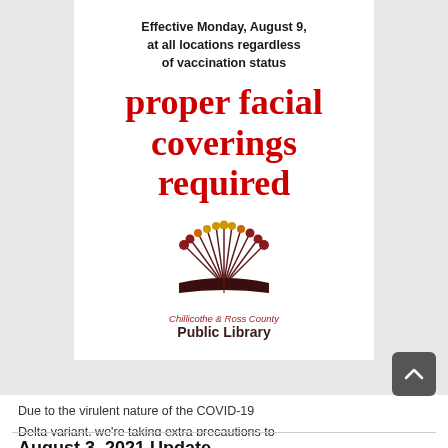Effective Monday, August 9, at all locations regardless of vaccination status
proper facial coverings required
[Figure (logo): Chillicothe & Ross County Public Library logo — open book with colorful dots rising from pages]
Chillicothe & Ross County Public Library
Due to the virulent nature of the COVID-19 Delta variant, we're taking extra precautions to protect our community, the staff, and families
August 3, 2021 Update